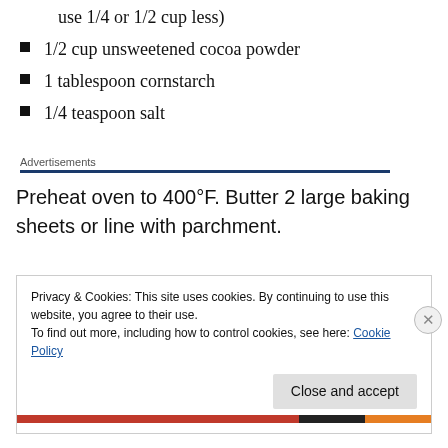use 1/4 or 1/2 cup less)
1/2 cup unsweetened cocoa powder
1 tablespoon cornstarch
1/4 teaspoon salt
Advertisements
Preheat oven to 400°F. Butter 2 large baking sheets or line with parchment.
Privacy & Cookies: This site uses cookies. By continuing to use this website, you agree to their use.
To find out more, including how to control cookies, see here: Cookie Policy